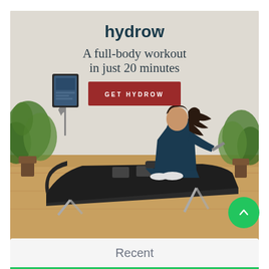[Figure (photo): Hydrow rowing machine advertisement. Shows a woman in teal athletic wear using a Hydrow rowing machine in a bright indoor room with plants. Text overlay reads 'hydrow™ A full-body workout in just 20 minutes' with a red 'GET HYDROW' call-to-action button.]
Recent